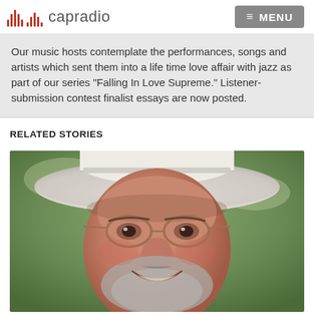capradio  MENU
Our music hosts contemplate the performances, songs and artists which sent them into a life time love affair with jazz as part of our series "Falling In Love Supreme." Listener-submission contest finalist essays are now posted.
RELATED STORIES
[Figure (photo): Close-up photo of a smiling older man wearing a wide-brimmed white hat and round glasses with brown frames, with grey beard, outdoors with greenery in background.]